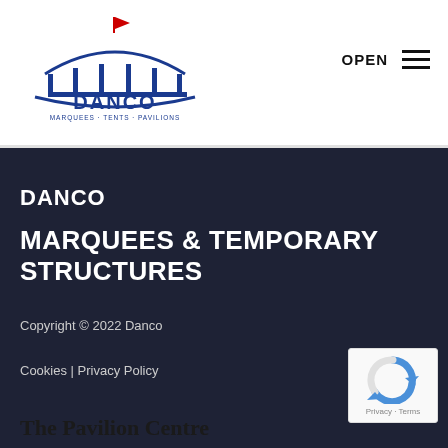[Figure (logo): Danco Marquees Tents Pavilions logo with a blue marquee/tent graphic and a red flag on top, company name DANCO in bold blue text, tagline MARQUEES · TENTS · PAVILIONS below]
OPEN
DANCO
MARQUEES & TEMPORARY STRUCTURES
Copyright © 2022 Danco
Cookies | Privacy Policy
The Pavilion Centre